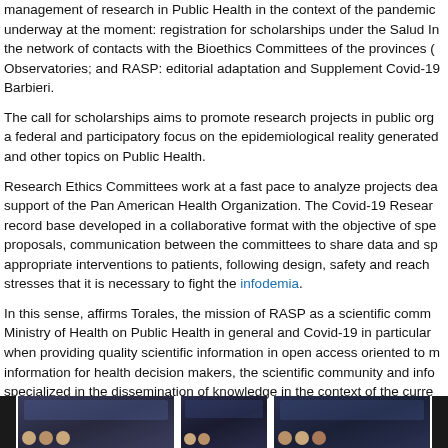management of research in Public Health in the context of the pandemic underway at the moment: registration for scholarships under the Salud Investiga; the network of contacts with the Bioethics Committees of the provinces (…); Observatories; and RASP: editorial adaptation and Supplement Covid-19. Barbieri.
The call for scholarships aims to promote research projects in public organizations with a federal and participatory focus on the epidemiological reality generated by Covid-19 and other topics on Public Health.
Research Ethics Committees work at a fast pace to analyze projects dealing with the support of the Pan American Health Organization. The Covid-19 Research Record is a record base developed in a collaborative format with the objective of speeding up proposals, communication between the committees to share data and speed up appropriate interventions to patients, following design, safety and reach criteria. He stresses that it is necessary to fight the infodemia.
In this sense, affirms Torales, the mission of RASP as a scientific communication to Ministry of Health on Public Health in general and Covid-19 in particular and is fulfilled when providing quality scientific information in open access oriented to make reliable information for health decision makers, the scientific community and inform a society specialized in the dissemination of knowledge in the context of the current pandemic.
[Figure (photo): Strip of photographs at the bottom of the page showing video conference or meeting participants, multiple thumbnail images side by side]